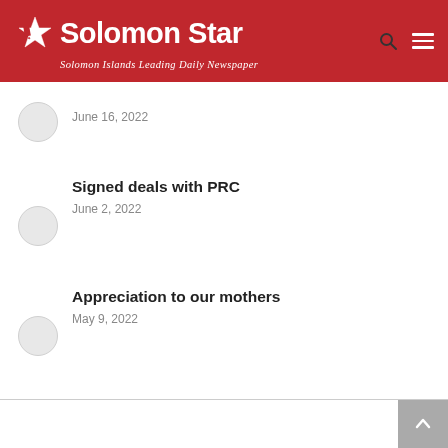Solomon Star — Solomon Islands Leading Daily Newspaper
[Figure (other): Circular thumbnail placeholder for article]
June 16, 2022
Signed deals with PRC
[Figure (other): Circular thumbnail placeholder for article]
June 2, 2022
Appreciation to our mothers
[Figure (other): Circular thumbnail placeholder for article]
May 9, 2022
Back to top button